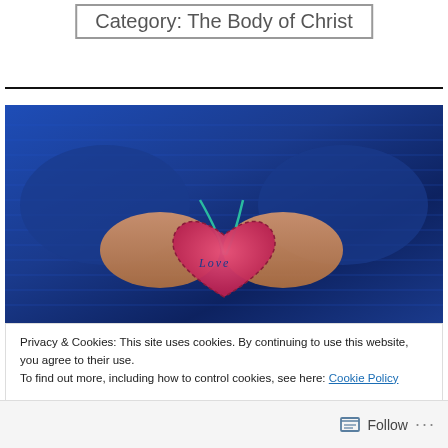Category: The Body of Christ
[Figure (photo): Hands holding a pink heart-shaped ornament with 'Love' stitched on it, against a blue knit sweater background]
Privacy & Cookies: This site uses cookies. By continuing to use this website, you agree to their use.
To find out more, including how to control cookies, see here: Cookie Policy
Close and accept
Follow ...